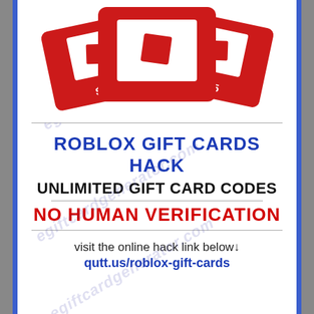[Figure (illustration): Three Roblox gift cards fanned out showing $100 (center/front), $50 (left/back), and $25 (right/back). Cards are red with the Roblox logo and a white square icon with a small red square. Watermark 'egiftcardgenerator.com' overlaid diagonally.]
ROBLOX GIFT CARDS HACK
UNLIMITED GIFT CARD CODES
NO HUMAN VERIFICATION
visit the online hack link below↓
qutt.us/roblox-gift-cards